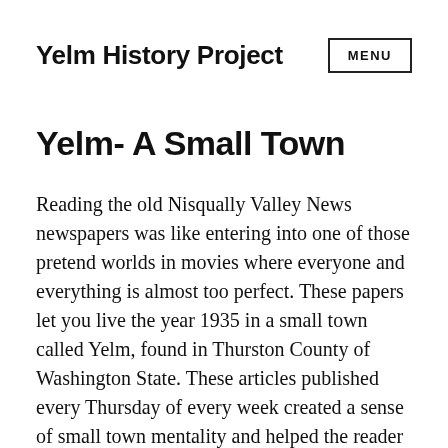Yelm History Project
Yelm- A Small Town
Reading the old Nisqually Valley News newspapers was like entering into one of those pretend worlds in movies where everyone and everything is almost too perfect. These papers let you live the year 1935 in a small town called Yelm, found in Thurston County of Washington State. These articles published every Thursday of every week created a sense of small town mentality and helped the reader grasp what it